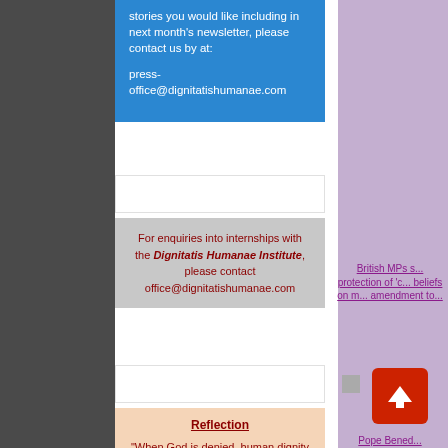stories you would like including in next month's newsletter, please contact us by at:

press-office@dignitatishumanae.com
For enquiries into internships with the Dignitatis Humanae Institute, please contact office@dignitatishumanae.com
Reflection

"When God is denied, human dignity also disappears. Whoever defends God is
British MPs s... protection of 'c... beliefs on m... amendment to...
Pope Bened... Gathering of t... Lif...san...